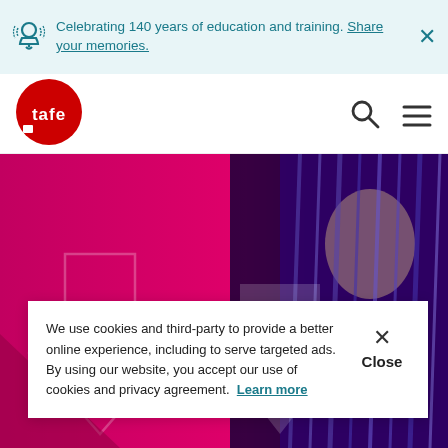Celebrating 140 years of education and training. Share your memories.
[Figure (logo): TAFE NSW logo - red circle with white tafe text]
[Figure (photo): Hero banner with pink/magenta gradient background with geometric arrow shapes and a person working with server/network cables]
We use cookies and third-party to provide a better online experience, including to serve targeted ads. By using our website, you accept our use of cookies and privacy agreement. Learn more